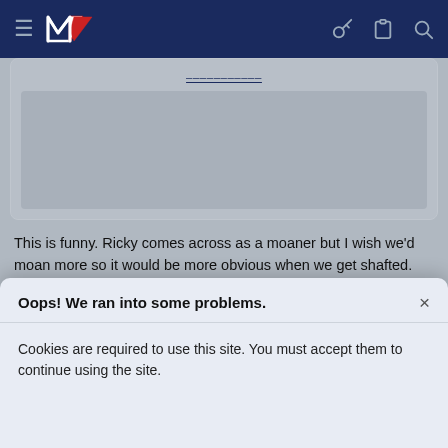MV (New Zealand rugby website) navigation bar with hamburger menu, logo, key icon, clipboard icon, search icon
[Figure (screenshot): Partial post card with a blurred/greyed image placeholder and a partially visible link at the top]
This is funny. Ricky comes across as a moaner but I wish we'd moan more so it would be more obvious when we get shafted.
Hazman, Defence, Worried2Death and 2 others
Reply
Oops! We ran into some problems.
Cookies are required to use this site. You must accept them to continue using the site.